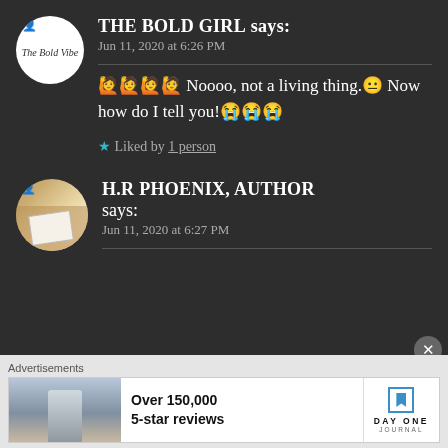THE BOLD GIRL says: Jun 11, 2020 at 6:26 PM
🙋🙋🙋🙋 Noooo, not a living thing.😐 Now how do I tell you!😭😭😭
★ Liked by 1 person
H.R PHOENIX, AUTHOR says: Jun 11, 2020 at 6:27 PM
Advertisements
Over 150,000 5-star reviews
DAY ONE JOURNAL